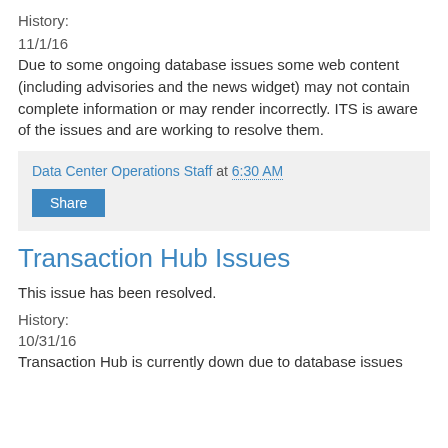History:
11/1/16
Due to some ongoing database issues some web content (including advisories and the news widget) may not contain complete information or may render incorrectly. ITS is aware of the issues and are working to resolve them.
Data Center Operations Staff at 6:30 AM
Share
Transaction Hub Issues
This issue has been resolved.
History:
10/31/16
Transaction Hub is currently down due to database issues